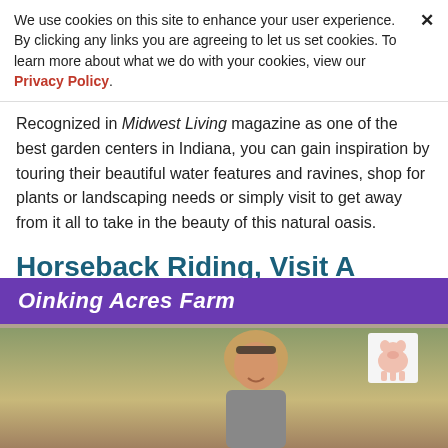We use cookies on this site to enhance your user experience. By clicking any links you are agreeing to let us set cookies. To learn more about what we do with your cookies, view our Privacy Policy.
Recognized in Midwest Living magazine as one of the best garden centers in Indiana, you can gain inspiration by touring their beautiful water features and ravines, shop for plants or landscaping needs or simply visit to get away from it all to take in the beauty of this natural oasis.
Horseback Riding, Visit A Farm, Orchard
[Figure (photo): Photo of a woman standing under a purple banner reading 'Oinking Acres Farm' with a pig silhouette sign visible on the right and wooden fence/farm buildings in the background.]